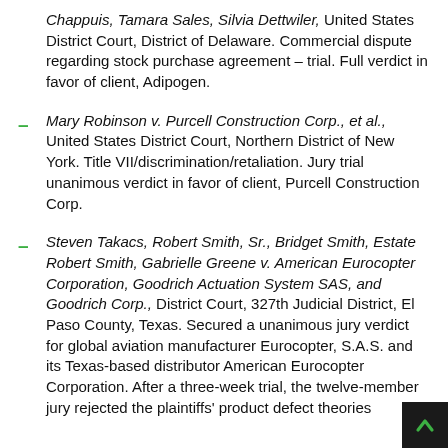Chappuis, Tamara Sales, Silvia Dettwiler, United States District Court, District of Delaware. Commercial dispute regarding stock purchase agreement – trial. Full verdict in favor of client, Adipogen.
Mary Robinson v. Purcell Construction Corp., et al., United States District Court, Northern District of New York. Title VII/discrimination/retaliation. Jury trial unanimous verdict in favor of client, Purcell Construction Corp.
Steven Takacs, Robert Smith, Sr., Bridget Smith, Estate Robert Smith, Gabrielle Greene v. American Eurocopter Corporation, Goodrich Actuation System SAS, and Goodrich Corp., District Court, 327th Judicial District, El Paso County, Texas. Secured a unanimous jury verdict for global aviation manufacturer Eurocopter, S.A.S. and its Texas-based distributor American Eurocopter Corporation. After a three-week trial, the twelve-member jury rejected the plaintiffs' product defect theories